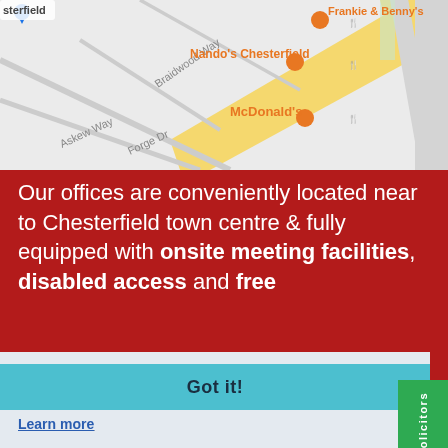[Figure (map): Google Maps screenshot showing area near Chesterfield with labels: Frankie & Benny's, Nando's Chesterfield, McDonald's, Braidwood Way, Askew Way, Forge Dr. Roads shown in grey and yellow.]
Our offices are conveniently located near to Chesterfield town centre & fully equipped with onsite meeting facilities, disabled access and free
This website uses cookies to ensure you get the best experience on our website.
Learn more
Got it!
Drop into our offices